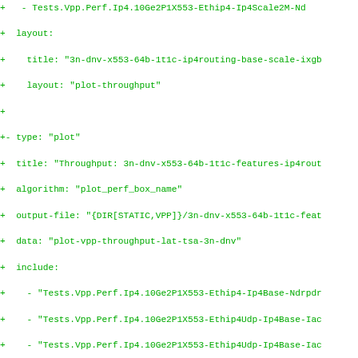Diff view of a YAML configuration file showing plot definitions for VPP throughput tests on 3n-dnv-x553 platform